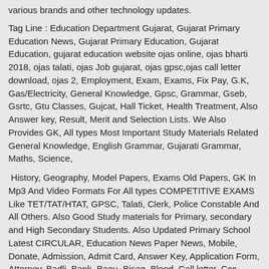various brands and other technology updates.
Tag Line : Education Department Gujarat, Gujarat Primary Education News, Gujarat Primary Education, Gujarat Education, gujarat education website ojas online, ojas bharti 2018, ojas talati, ojas Job gujarat, ojas gpsc,ojas call letter download, ojas 2, Employment, Exam, Exams, Fix Pay, G.K, Gas/Electricity, General Knowledge, Gpsc, Grammar, Gseb, Gsrtc, Gtu Classes, Gujcat, Hall Ticket, Health Treatment, Also Answer key, Result, Merit and Selection Lists. We Also Provides GK, All types Most Important Study Materials Related General Knowledge, English Grammar, Gujarati Grammar, Maths, Science,
History, Geography, Model Papers, Exams Old Papers, GK In Mp3 And Video Formats For All types COMPETITIVE EXAMS Like TET/TAT/HTAT, GPSC, Talati, Clerk, Police Constable And All Others. Also Good Study materials for Primary, secondary and High Secondary Students. Also Updated Primary School Latest CIRCULAR, Education News Paper News, Mobile, Donate, Admission, Admit Card, Answer Key, Application Form, Attorney, Badli, Bank, Baou, Bisag, Blood, Call letter, Ccc, Circular, Claim, Clerk, Conference Call, Constable, Cpf, Crc, Credit, Current Affair, High-court, Hngu, Hosting, Hsc, Htat, Ibps, Insurance, Iti, Ivrs, Job , Lawyer, Loans, Merit List, Merit, Talati, Tat, Tat, Tat-Htat, Technology